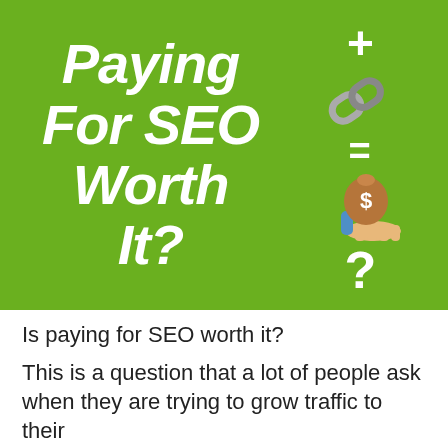[Figure (infographic): Green banner infographic with bold white italic text 'Paying For SEO Worth It?' on the left, and on the right: a plus symbol, a chain link icon, an equals symbol, a money bag with dollar sign on a hand icon, and a question mark symbol.]
Is paying for SEO worth it?
This is a question that a lot of people ask when they are trying to grow traffic to their